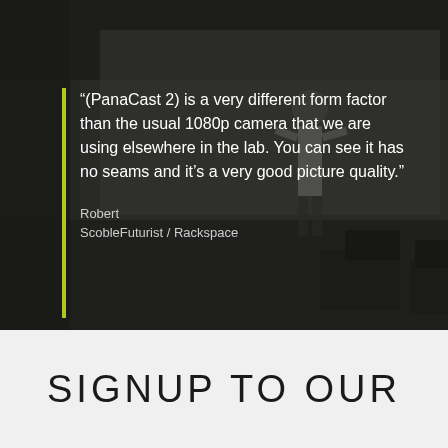[Figure (photo): Dark-toned photo of a person standing in a room with chairs and a whiteboard, used as background for a testimonial quote]
“(PanaCast 2) is a very different form factor than the usual 1080p camera that we are using elsewhere in the lab. You can see it has no seams and it’s a very good picture quality.”
Robert
ScobleFuturist / Rackspace
SIGNUP TO OUR